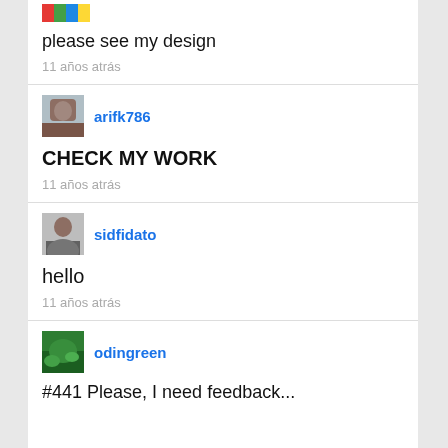[Figure (illustration): Small colorful icon/avatar at top, partially visible]
please see my design
11 años atrás
[Figure (photo): Avatar photo of arifk786 user - man's face]
arifk786
CHECK MY WORK
11 años atrás
[Figure (photo): Avatar photo of sidfidato user]
sidfidato
hello
11 años atrás
[Figure (photo): Avatar photo of odingreen user - green nature photo]
odingreen
#441 Please, I need feedback...